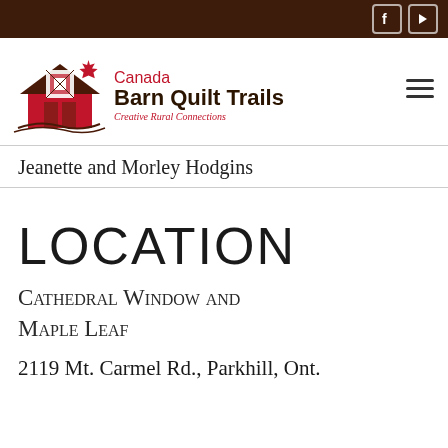Canada Barn Quilt Trails — Creative Rural Connections [with social icons]
Jeanette and Morley Hodgins
LOCATION
Cathedral Window and Maple Leaf
2119 Mt. Carmel Rd., Parkhill, Ont.